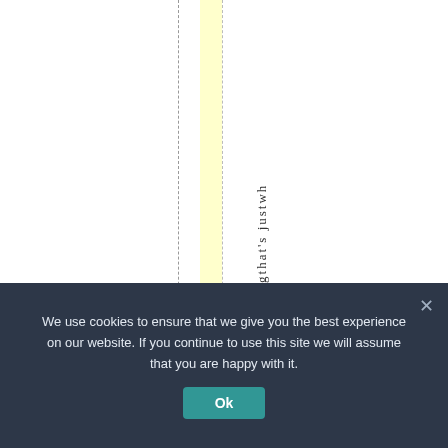s w r o n g t h a t ' s j u s t w h
We use cookies to ensure that we give you the best experience on our website. If you continue to use this site we will assume that you are happy with it.